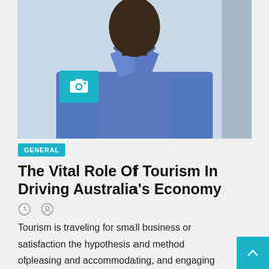[Figure (photo): Photo of a man in a blue shirt and grey tie, cropped to chest level, with a teal camera icon badge overlaid in the lower-left of the image]
GENERAL
The Vital Role Of Tourism In Driving Australia's Economy
Tourism is traveling for small business or satisfaction the hypothesis and method ofpleasing and accommodating, and engaging site visitors, as well as management of preparing excursions inside a vicinity